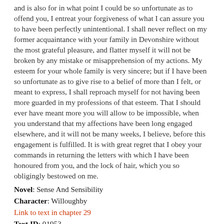and is also for in what point I could be so unfortunate as to offend you, I entreat your forgiveness of what I can assure you to have been perfectly unintentional. I shall never reflect on my former acquaintance with your family in Devonshire without the most grateful pleasure, and flatter myself it will not be broken by any mistake or misapprehension of my actions. My esteem for your whole family is very sincere; but if I have been so unfortunate as to give rise to a belief of more than I felt, or meant to express, I shall reproach myself for not having been more guarded in my professions of that esteem. That I should ever have meant more you will allow to be impossible, when you understand that my affections have been long engaged elsewhere, and it will not be many weeks, I believe, before this engagement is fulfilled. It is with great regret that I obey your commands in returning the letters with which I have been honoured from you, and the lock of hair, which you so obligingly bestowed on me.
Novel: Sense And Sensibility
Character: Willoughby
Link to text in chapter 29
Text ID: 01953